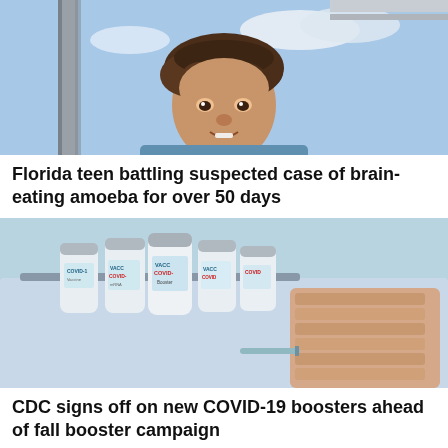[Figure (photo): A teenage boy with brown curly hair smiling outdoors near a metal pole, with cloudy sky in background]
Florida teen battling suspected case of brain-eating amoeba for over 50 days
[Figure (photo): Several COVID-19 vaccine vials labeled VACCINE and COVID on a medical tray with bandages]
CDC signs off on new COVID-19 boosters ahead of fall booster campaign
[Figure (photo): A young child with dark hair in a ponytail wearing a light blue jacket, seen from behind, outdoors with yellow flowers in background]